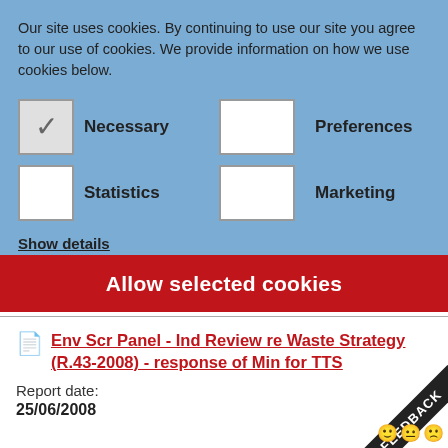Our site uses cookies. By continuing to use our site you agree to our use of cookies. We provide information on how we use cookies below.
Necessary
Preferences
Statistics
Marketing
Show details
Allow selected cookies
Env Scr Panel - Ind Review re Waste Strategy (R.43-2008) - response of Min for TTS
Report date:
25/06/2008